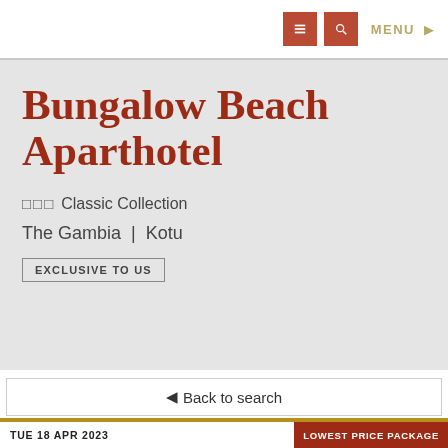MENU
Bungalow Beach Aparthotel
☆☆☆  Classic Collection
The Gambia  |  Kotu
EXCLUSIVE TO US
← Back to search
View All Pricing ↓
TUE 18 APR 2023    LOWEST PRICE PACKAGE